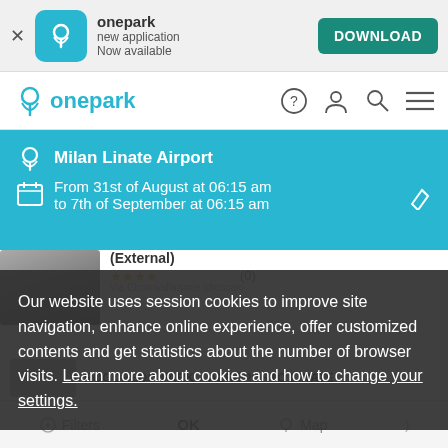[Figure (screenshot): App download banner with onepark logo, 'new application Now available' text, and a teal DOWNLOAD button]
[Figure (screenshot): Onepark website navigation bar with teal logo and icons for help, account, search, and menu]
[Figure (screenshot): Teal search/filter bar showing Milan Linate Airport location and dates: From 31st of August at 06:15 am to 7th of September at 06:15 am]
(External)
(0)
Our website uses session cookies to improve site navigation, enhance online experience, offer customized contents and get statistics about the number of browser visits. Learn more about cookies and how to change your settings.
ROGOREDO PARK – AEROPORTO LINATE
Filters  OK  Map